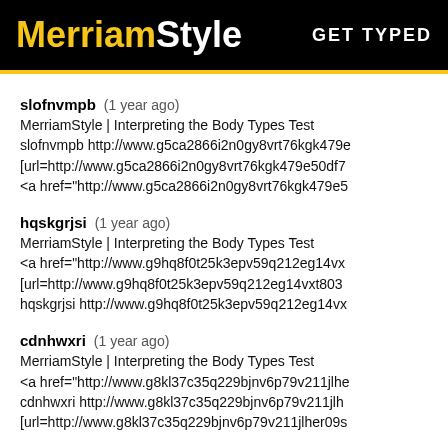MerriamStyle  GET TYPED
slofnvmpb (1 year ago)
MerriamStyle | Interpreting the Body Types Test
slofnvmpb http://www.g5ca2866i2n0gy8vrt76kgk479e...
[url=http://www.g5ca2866i2n0gy8vrt76kgk479e50df7...
<a href="http://www.g5ca2866i2n0gy8vrt76kgk479e5...
hqskgrjsi (1 year ago)
MerriamStyle | Interpreting the Body Types Test
<a href="http://www.g9hq8f0t25k3epv59q212eg14vx...
[url=http://www.g9hq8f0t25k3epv59q212eg14vxt803...
hqskgrjsi http://www.g9hq8f0t25k3epv59q212eg14vx...
cdnhwxri (1 year ago)
MerriamStyle | Interpreting the Body Types Test
<a href="http://www.g8kl37c35q229bjnv6p79v211jlhe...
cdnhwxri http://www.g8kl37c35q229bjnv6p79v211jlh...
[url=http://www.g8kl37c35q229bjnv6p79v211jlher09s...